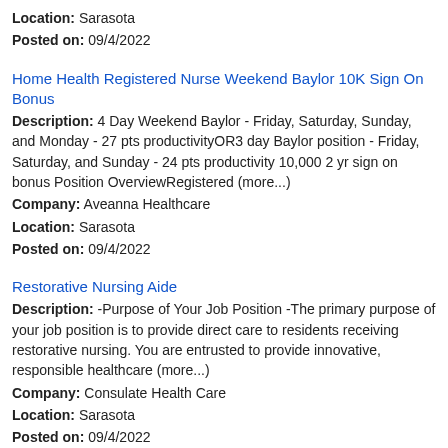Location: Sarasota
Posted on: 09/4/2022
Home Health Registered Nurse Weekend Baylor 10K Sign On Bonus
Description: 4 Day Weekend Baylor - Friday, Saturday, Sunday, and Monday - 27 pts productivityOR3 day Baylor position - Friday, Saturday, and Sunday - 24 pts productivity 10,000 2 yr sign on bonus Position OverviewRegistered (more...)
Company: Aveanna Healthcare
Location: Sarasota
Posted on: 09/4/2022
Restorative Nursing Aide
Description: -Purpose of Your Job Position -The primary purpose of your job position is to provide direct care to residents receiving restorative nursing. You are entrusted to provide innovative, responsible healthcare (more...)
Company: Consulate Health Care
Location: Sarasota
Posted on: 09/4/2022
CNA - PRN - $19 per hour
Description: ID 2022-105629 br Position Location : Location US-FL-